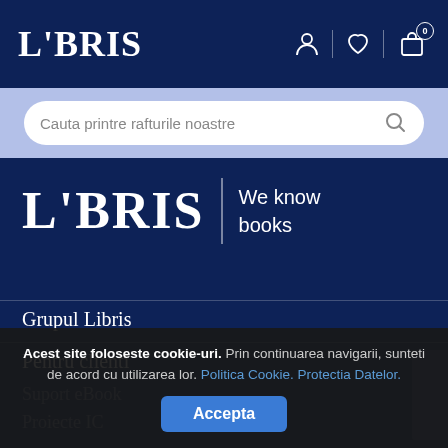LIBRIS
Cauta printre rafturile noastre
[Figure (logo): LIBRIS logo with tagline 'We know books' on dark blue background]
Grupul Libris
Pentru clienti
Suport eBook
Proiecte IC
Acest site foloseste cookie-uri. Prin continuarea navigarii, sunteti de acord cu utilizarea lor. Politica Cookie. Protectia Datelor.
Accepta